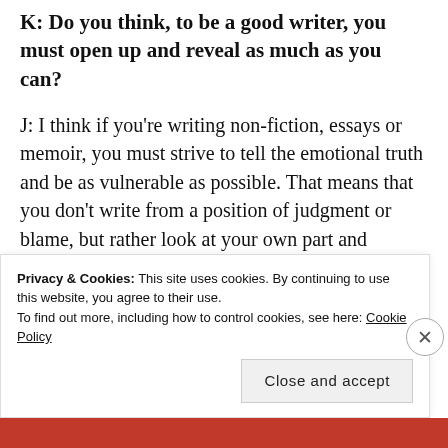K: Do you think, to be a good writer, you must open up and reveal as much as you can?
J: I think if you're writing non-fiction, essays or memoir, you must strive to tell the emotional truth and be as vulnerable as possible. That means that you don't write from a position of judgment or blame, but rather look at your own part and experience. I don't think
Privacy & Cookies: This site uses cookies. By continuing to use this website, you agree to their use.
To find out more, including how to control cookies, see here: Cookie Policy
Close and accept